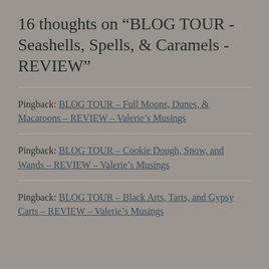16 thoughts on “BLOG TOUR - Seashells, Spells, & Caramels - REVIEW”
Pingback: BLOG TOUR – Full Moons, Dunes, & Macaroons – REVIEW – Valerie’s Musings
Pingback: BLOG TOUR – Cookie Dough, Snow, and Wands – REVIEW – Valerie’s Musings
Pingback: BLOG TOUR – Black Arts, Tarts, and Gypsy Carts – REVIEW – Valerie’s Musings